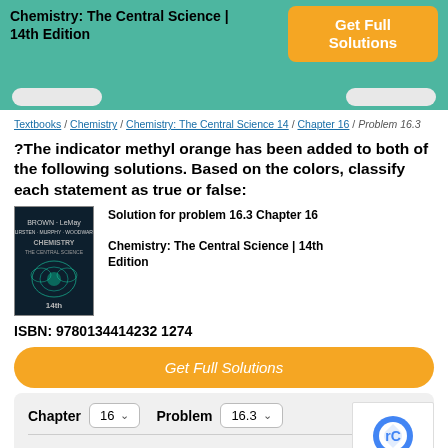Chemistry: The Central Science | 14th Edition
Textbooks / Chemistry / Chemistry: The Central Science 14 / Chapter 16 / Problem 16.3
?The indicator methyl orange has been added to both of the following solutions. Based on the colors, classify each statement as true or false:
[Figure (illustration): Chemistry textbook cover thumbnail with dark teal/green butterfly or crystal design on black background]
Solution for problem 16.3 Chapter 16
Chemistry: The Central Science | 14th Edition
ISBN: 9780134414232 1274
Get Full Solutions
Chapter 16 ∨   Problem 16.3 ∨
247 Reviews  👍 16
Problem 16.3